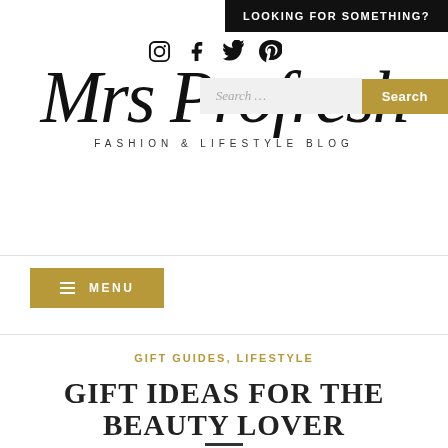LOOKING FOR SOMETHING?
[Figure (logo): Social media icons: Instagram, Facebook, Twitter, Pinterest]
[Figure (logo): Mrs Profresh script logo with subtitle FASHION & LIFESTYLE BLOG and search bar]
≡ MENU
GIFT GUIDES, LIFESTYLE
GIFT IDEAS FOR THE BEAUTY LOVER